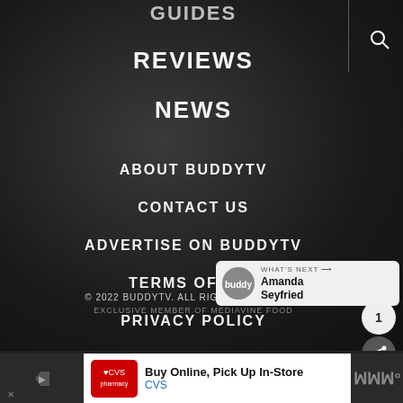GUIDES
REVIEWS
NEWS
ABOUT BUDDYTV
CONTACT US
ADVERTISE ON BUDDYTV
TERMS OF USE
PRIVACY POLICY
DMCA / INFRINGEMENT
© 2022 BUDDYTV.  ALL RIGHTS RESERVED.
EXCLUSIVE MEMBER OF MEDIAVINE FOOD
WHAT'S NEXT → Amanda Seyfried
[Figure (other): BuddyTV logo thumbnail circle for What's Next widget]
Buy Online, Pick Up In-Store CVS
[Figure (logo): CVS Pharmacy logo red box with heart]
[Figure (logo): Blue diamond direction arrow icon]
[Figure (logo): Right-side brand logo with stylized W and degree symbol]